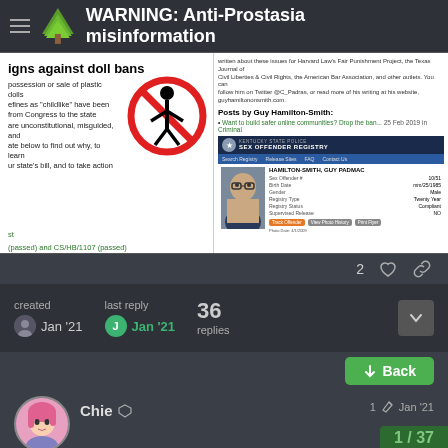WARNING: Anti-Prostasia misinformation
[Figure (screenshot): Screenshot of two web pages side by side: left shows a campaign against doll bans with a no-entry sign graphic containing a doll figure, with green text links about legislation; right shows a bio page for Guy Hamilton-Smith with posts section and a Kentucky State Police Sex Offender Registry entry for Hamilton-Smith, Guy Padmac]
2 (likes) (link icon)
created
Jan '21
last reply
Jan '21
36
replies
↓ Back
Chie
1 / 37